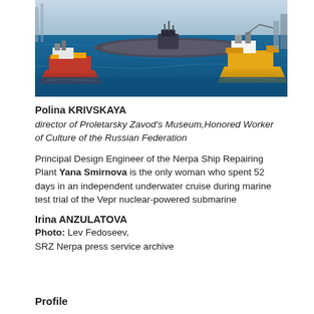[Figure (photo): Harbor scene with tugboats escorting a submarine on blue water, industrial port setting.]
Polina KRIVSKAYA
director of Proletarsky Zavod's Museum,Honored Worker of Culture of the Russian Federation
Principal Design Engineer of the Nerpa Ship Repairing Plant Yana Smirnova is the only woman who spent 52 days in an independent underwater cruise during marine test trial of the Vepr nuclear-powered submarine
Irina ANZULATOVA
Photo: Lev Fedoseev,
SRZ Nerpa press service archive
Profile